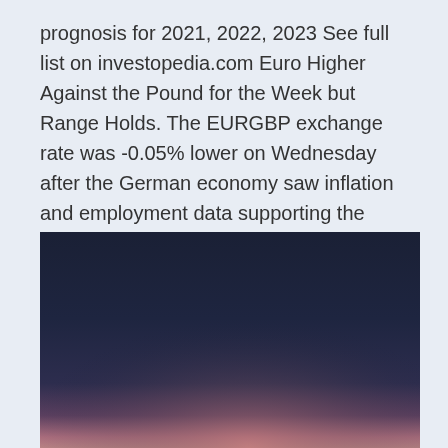prognosis for 2021, 2022, 2023 See full list on investopedia.com Euro Higher Against the Pound for the Week but Range Holds. The EURGBP exchange rate was -0.05% lower on Wednesday after the German economy saw inflation and employment data supporting the single currency this week.
[Figure (photo): A dark atmospheric image with a dark navy/blue-grey gradient sky transitioning to a warm pinkish-rose hue near the bottom, suggesting a twilight or dusk scene.]